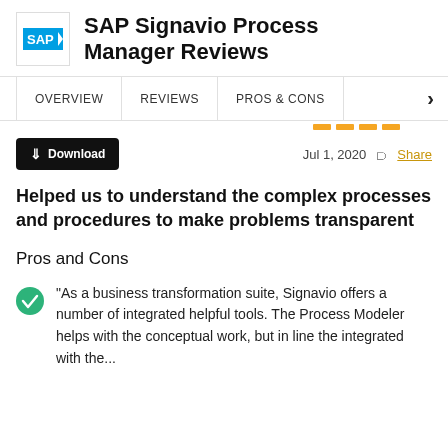SAP Signavio Process Manager Reviews
OVERVIEW   REVIEWS   PROS & CONS
Download   Jul 1, 2020   Share
Helped us to understand the complex processes and procedures to make problems transparent
Pros and Cons
"As a business transformation suite, Signavio offers a number of integrated helpful tools. The Process Modeler helps with the conceptual work, but in line the integrated with the...